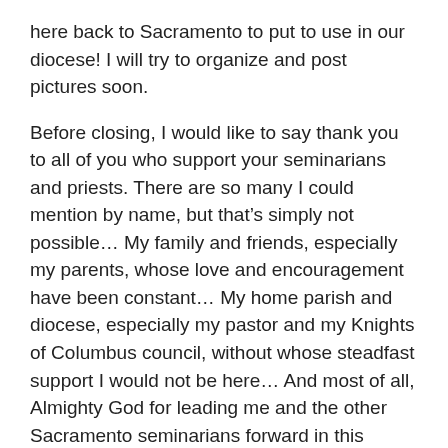here back to Sacramento to put to use in our diocese! I will try to organize and post pictures soon.
Before closing, I would like to say thank you to all of you who support your seminarians and priests. There are so many I could mention by name, but that’s simply not possible… My family and friends, especially my parents, whose love and encouragement have been constant… My home parish and diocese, especially my pastor and my Knights of Columbus council, without whose steadfast support I would not be here… And most of all, Almighty God for leading me and the other Sacramento seminarians forward in this wonderful life. To Him be the glory!
Please know that you are in all of our prayers daily.